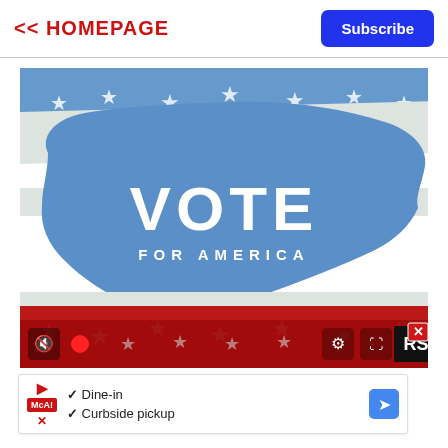<< HOMEPAGE
Subscribe
[Figure (screenshot): Video player showing a 'Vote for America' themed image with a US flag and US map silhouette containing the text 'VOTE FOR AMERICA'. Video player controls are visible at the bottom including mute, record, settings, fullscreen, RS logo, and close button.]
Dine-in  Curbside pickup